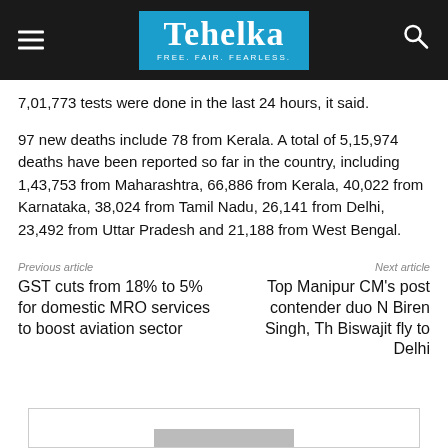Tehelka — FREE. FAIR. FEARLESS.
7,01,773 tests were done in the last 24 hours, it said.
97 new deaths include 78 from Kerala. A total of 5,15,974 deaths have been reported so far in the country, including 1,43,753 from Maharashtra, 66,886 from Kerala, 40,022 from Karnataka, 38,024 from Tamil Nadu, 26,141 from Delhi, 23,492 from Uttar Pradesh and 21,188 from West Bengal.
Previous article
GST cuts from 18% to 5% for domestic MRO services to boost aviation sector
Next article
Top Manipur CM's post contender duo N Biren Singh, Th Biswajit fly to Delhi